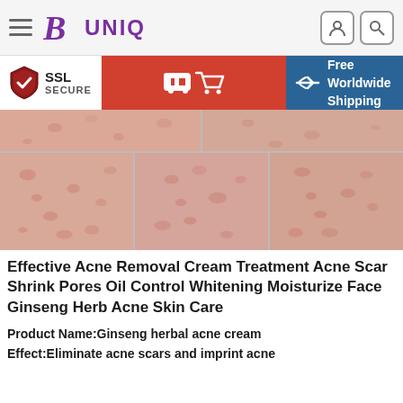[Figure (logo): BUNIQ logo with stylized B in purple serif font]
[Figure (infographic): SSL Secure shield badge, red cart button, and Free Worldwide Shipping banner with airplane icon on blue background]
[Figure (photo): Five close-up skin photos showing acne, pores, and skin texture arranged in two rows]
Effective Acne Removal Cream Treatment Acne Scar Shrink Pores Oil Control Whitening Moisturize Face Ginseng Herb Acne Skin Care
Product Name:Ginseng herbal acne cream
Effect:Eliminate acne scars and imprint acne